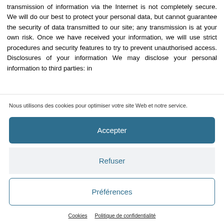transmission of information via the Internet is not completely secure. We will do our best to protect your personal data, but cannot guarantee the security of data transmitted to our site; any transmission is at your own risk. Once we have received your information, we will use strict procedures and security features to try to prevent unauthorised access. Disclosures of your information We may disclose your personal information to third parties: in
Nous utilisons des cookies pour optimiser votre site Web et notre service.
Accepter
Refuser
Préférences
Cookies   Politique de confidentialité